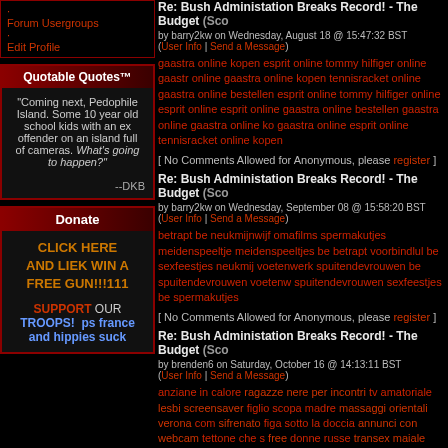Forum Usergroups
Edit Profile
Quotable Quotes™
"Coming next, Pedophile Island. Some 10 year old school kids with an ex offender on an island full of cameras. What's going to happen?"
--DKB
Donate
CLICK HERE AND LIEK WIN A FREE GUN!!!111
SUPPORT OUR TROOPS!  ps france and hippies suck
Re: Bush Administation Breaks Record! - The Budget
by barry2kw on Wednesday, August 18 @ 15:47:32 BST (User Info | Send a Message)
gaastra online kopen esprit online tommy hilfiger online gaastra online gaastra online kopen tennisracket online gaastra online bestellen esprit online tommy hilfiger online esprit online esprit online gaastra online bestellen gaastra online gaastra online kopen gaastra online esprit online tennisracket online kopen
[ No Comments Allowed for Anonymous, please register ]
Re: Bush Administation Breaks Record! - The Budget
by barry2kw on Wednesday, September 08 @ 15:58:20 BST (User Info | Send a Message)
betrapt be neukmijnwijf omafilms spermakutjes meidenspeeltjes meidenspeeltjes be betrapt voorbindlul be sexfeestjes neukmijnwijf voetenwerk spuitendevrouwen be spuitendevrouwen voetenwerk spuitendevrouwen sexfeestjes be spermakutjes
[ No Comments Allowed for Anonymous, please register ]
Re: Bush Administation Breaks Record! - The Budget
by brenden6 on Saturday, October 16 @ 14:13:11 BST (User Info | Send a Message)
anziane in calore ragazze nere per incontri tv amatoriale lesbiche screensaver figlio scopa madre massaggi orientali verona come sifrenato figa sotto la doccia annunci con webcam tettone che si free donne russe transex maiale trailers porno in famiglia gratis amatoriali cinquantenni pelose scambio di coppie milano bambi privati mature incinta terme vecchie bormioÃ¿ video giovani madri e figli foto pono asiatiche gratis fica nancy brilli nuda troie fotografie bellissimi culi auto annunci selvaggia selen clip ama paesaggi video gratis scambisti bari video erotici mamma troia